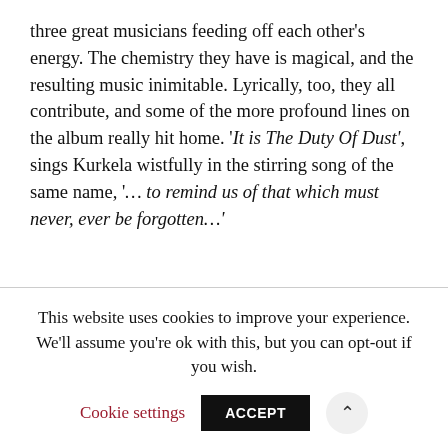three great musicians feeding off each other's energy. The chemistry they have is magical, and the resulting music inimitable. Lyrically, too, they all contribute, and some of the more profound lines on the album really hit home. 'It is The Duty Of Dust', sings Kurkela wistfully in the stirring song of the same name, '... to remind us of that which must never, ever be forgotten...'
This website uses cookies to improve your experience. We'll assume you're ok with this, but you can opt-out if you wish.